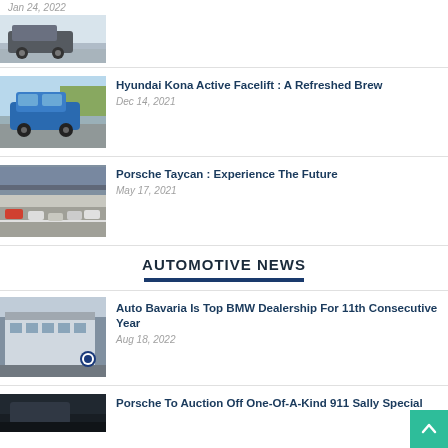Jan 24, 2022
[Figure (photo): Dark grey SUV (truck-style) on a road]
Hyundai Kona Active Facelift : A Refreshed Brew
Dec 14, 2021
[Figure (photo): Blue Hyundai Kona SUV on a road]
Porsche Taycan : Experience The Future
May 17, 2021
[Figure (photo): Multiple cars on a race track]
AUTOMOTIVE NEWS
Auto Bavaria Is Top BMW Dealership For 11th Consecutive Year
Aug 18, 2022
[Figure (photo): BMW dealership building exterior]
Porsche To Auction Off One-Of-A-Kind 911 Sally Special
[Figure (photo): Dark automotive scene, partially visible]